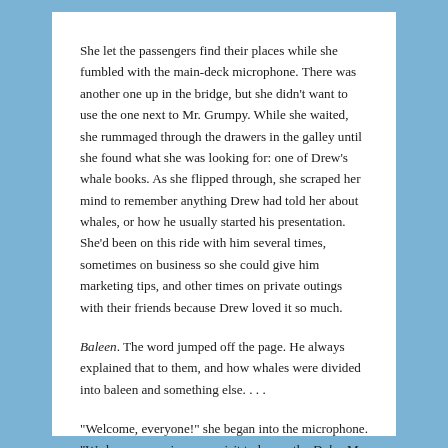She let the passengers find their places while she fumbled with the main-deck microphone. There was another one up in the bridge, but she didn't want to use the one next to Mr. Grumpy. While she waited, she rummaged through the drawers in the galley until she found what she was looking for: one of Drew's whale books. As she flipped through, she scraped her mind to remember anything Drew had told her about whales, or how he usually started his presentation. She'd been on this ride with him several times, sometimes on business so she could give him marketing tips, and other times on private outings with their friends because Drew loved it so much.
Baleen. The word jumped off the page. He always explained that to them, and how whales were divided into baleen and something else. . . .
“Welcome, everyone!” she began into the microphone. “We hope you enjoy your visit today on the Duke. My name is Lia, and I’ll be narrating for you today. We have